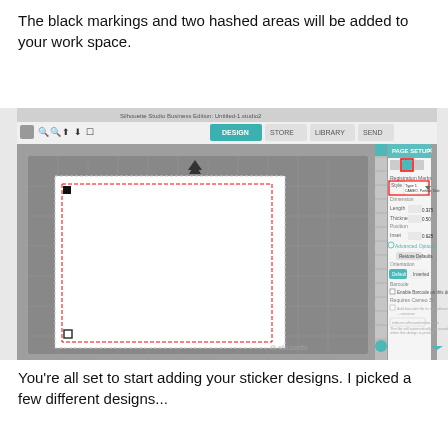The black markings and two hashed areas will be added to your work space.
[Figure (screenshot): Silhouette Studio Business Edition software screenshot showing a design workspace with a white page on a gray cutting mat, registration marks visible. The PAGE SETUP panel is open on the right showing Registration Marks settings with Style set to 'Type 1 CAMEO, Portrait, Cutt', Dimension fields for Length (0.375 in), Thickness (0.50), Position Inset (0.625 in), Advanced Options, Restore Defaults button, Orientation with Default/Inverted options, Barcode section, and Requires Cameo 3i section.]
You're all set to start adding your sticker designs.  I picked a few different designs...